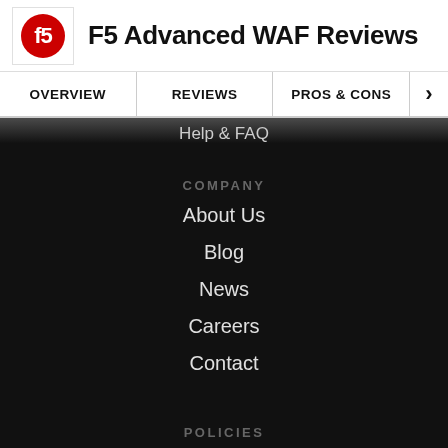F5 Advanced WAF Reviews
OVERVIEW
REVIEWS
PROS & CONS
Help & FAQ
COMPANY
About Us
Blog
News
Careers
Contact
POLICIES